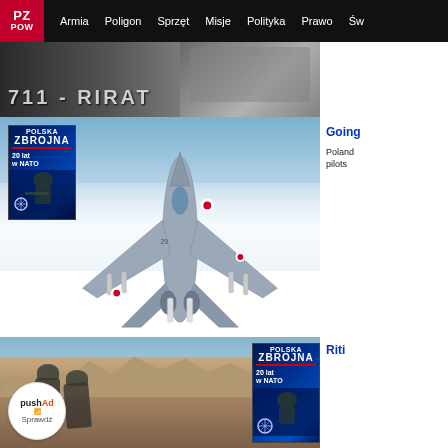PZ | Armia | Poligon | Sprzęt | Misje | Polityka | Prawo | Św
[Figure (photo): Black and white banner photo with tank and military text '711 - RIRAT']
[Figure (photo): Aerial view of Polish Air Force MiG-29 fighter jet armed with missiles, flying over clouds. A magazine cover 'Polska Zbrojna - 20 lat w NATO' is overlaid top-left.]
Going
Poland pilots
[Figure (photo): Soldiers in rocky desert terrain. A 'Polska Zbrojna - 20 lat w NATO' magazine overlaid at right. A pushAd Sprawdź circular badge at lower left.]
Riti